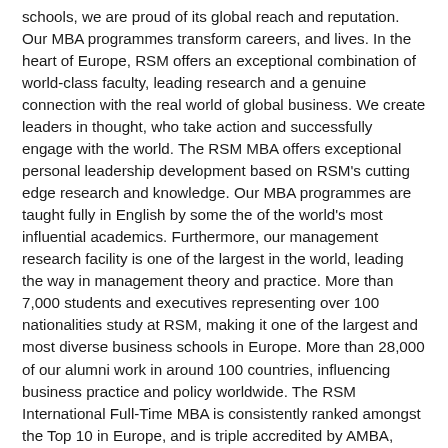schools, we are proud of its global reach and reputation. Our MBA programmes transform careers, and lives. In the heart of Europe, RSM offers an exceptional combination of world-class faculty, leading research and a genuine connection with the real world of global business. We create leaders in thought, who take action and successfully engage with the world. The RSM MBA offers exceptional personal leadership development based on RSM's cutting edge research and knowledge. Our MBA programmes are taught fully in English by some the of the world's most influential academics. Furthermore, our management research facility is one of the largest in the world, leading the way in management theory and practice. More than 7,000 students and executives representing over 100 nationalities study at RSM, making it one of the largest and most diverse business schools in Europe. More than 28,000 of our alumni work in around 100 countries, influencing business practice and policy worldwide. The RSM International Full-Time MBA is consistently ranked amongst the Top 10 in Europe, and is triple accredited by AMBA, EQUIS, and AACSB. Our leading MBA programmes produce 'big picture' thinkers who are able to lead in a global business environment, now and in the future. TIAS School for Business and Society TIAS) www.tias.edu/FTMBA TIAS is the Business School of Tilburg University and TU Eindhoven, located in the silicon valley of Europe and ranked TOP 10 Value for Money MBA in Europe (FT Rankings 2014). Our one-year, full-time, English taught MBA program is designed for career-minded professionals aiming for Career Change or Career Advancement. TIAS MBA is renowned for its small and diverse class with personal